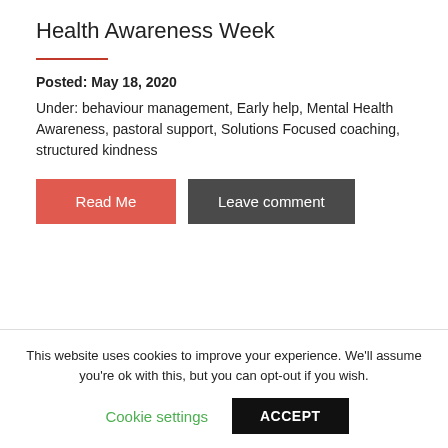Health Awareness Week
Posted: May 18, 2020
Under: behaviour management, Early help, Mental Health Awareness, pastoral support, Solutions Focused coaching, structured kindness
[Figure (other): Next page navigation arrow circle button (chevron right)]
This website uses cookies to improve your experience. We'll assume you're ok with this, but you can opt-out if you wish.
Cookie settings  ACCEPT